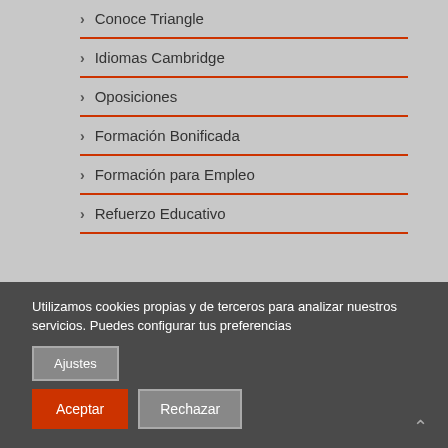Conoce Triangle
Idiomas Cambridge
Oposiciones
Formación Bonificada
Formación para Empleo
Refuerzo Educativo
Utilizamos cookies propias y de terceros para analizar nuestros servicios. Puedes configurar tus preferencias
Ajustes
Aceptar
Rechazar